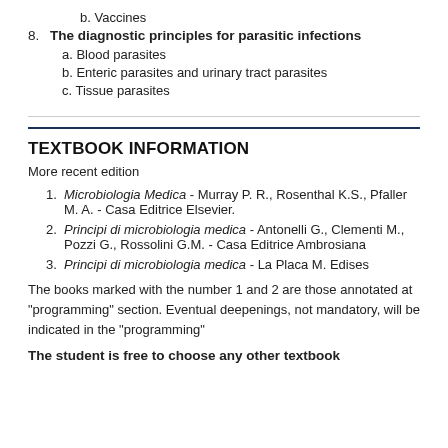b. Vaccines
8. The diagnostic principles for parasitic infections
a. Blood parasites
b. Enteric parasites and urinary tract parasites
c. Tissue parasites
TEXTBOOK INFORMATION
More recent edition
1. Microbiologia Medica - Murray P. R., Rosenthal K.S., Pfaller M. A. - Casa Editrice Elsevier.
2. Principi di microbiologia medica - Antonelli G., Clementi M., Pozzi G., Rossolini G.M. - Casa Editrice Ambrosiana
3. Principi di microbiologia medica - La Placa M. Edises
The books marked with the number 1 and 2 are those annotated at "programming" section. Eventual deepenings, not mandatory, will be indicated in the "programming"
The student is free to choose any other textbook